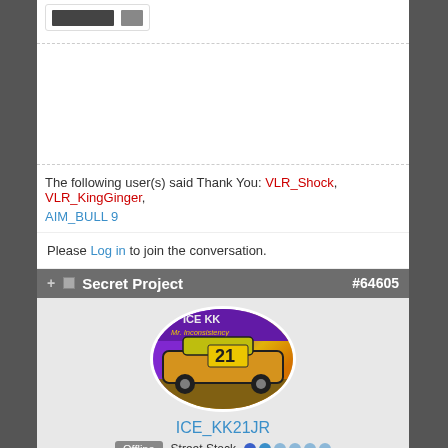The following user(s) said Thank You: VLR_Shock, VLR_KingGinger, AIM_BULL 9
Please Log in to join the conversation.
Secret Project #64605
[Figure (photo): Oval profile photo of a racing car numbered 21 with ICE KK branding on purple background, yellow car body]
ICE_KK21JR
Offline  Street Stock
smoother than ICE since 2014  Posts: 20  Karma: 1
Thank you received: 2